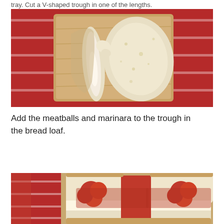tray. Cut a V-shaped trough in one of the lengths.
[Figure (photo): Overhead view of a sliced bread loaf on a wooden cutting board placed on a red cloth with white stripes. The bread is split open showing the trough carved into it, with some bread pieces removed.]
Add the meatballs and marinara to the trough in the bread loaf.
[Figure (photo): Close-up photo of a bread loaf sandwich filled with meatballs and red marinara sauce, placed on a wooden surface with a red cloth visible on the left side.]